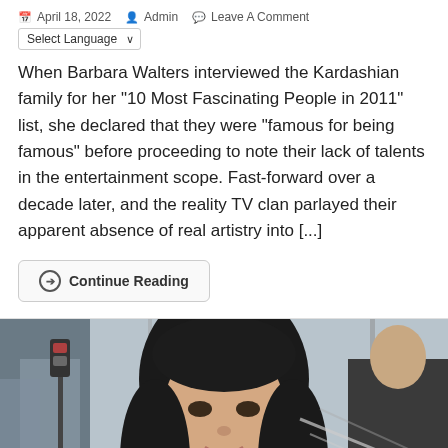April 18, 2022  Admin  Leave A Comment
When Barbara Walters interviewed the Kardashian family for her "10 Most Fascinating People in 2011" list, she declared that they were "famous for being famous" before proceeding to note their lack of talents in the entertainment scope. Fast-forward over a decade later, and the reality TV clan parlayed their apparent absence of real artistry into [...]
Continue Reading
[Figure (photo): Photo of a young woman with dark hair smiling, taken outdoors with other people visible in the background]